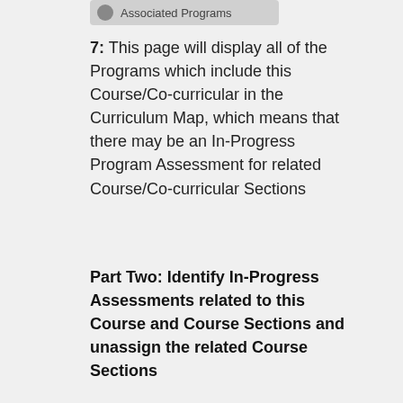[Figure (other): A rounded rectangle button/tab labeled 'Associated Programs' with a circular icon on the left]
7: This page will display all of the Programs which include this Course/Co-curricular in the Curriculum Map, which means that there may be an In-Progress Program Assessment for related Course/Co-curricular Sections
Part Two: Identify In-Progress Assessments related to this Course and Course Sections and unassign the related Course Sections